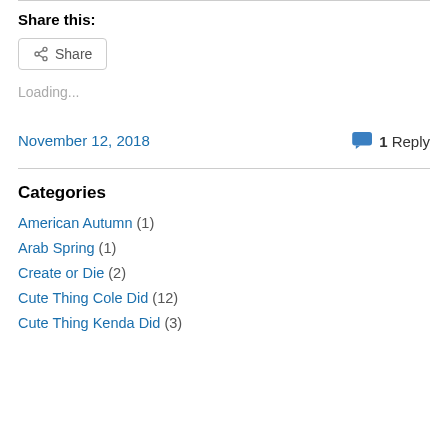Share this:
[Figure (screenshot): Share button with share icon]
Loading...
November 12, 2018
1 Reply
Categories
American Autumn (1)
Arab Spring (1)
Create or Die (2)
Cute Thing Cole Did (12)
Cute Thing Kenda Did (3)